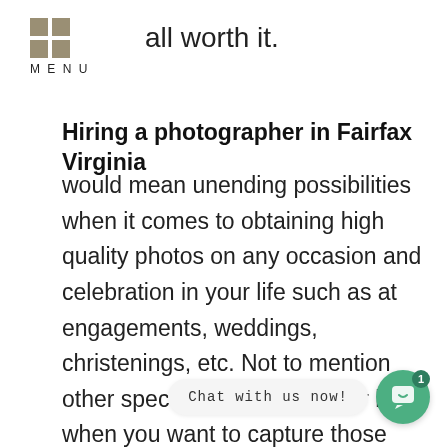MENU
all worth it.
Hiring a photographer in Fairfax Virginia
would mean unending possibilities when it comes to obtaining high quality photos on any occasion and celebration in your life such as at engagements, weddings, christenings, etc. Not to mention other special moments in your life when you want to capture those moments with your newborn and family. Let’s discuss below the different skills and styles a Fairfax Virginia pho it comes to all fields of photography.